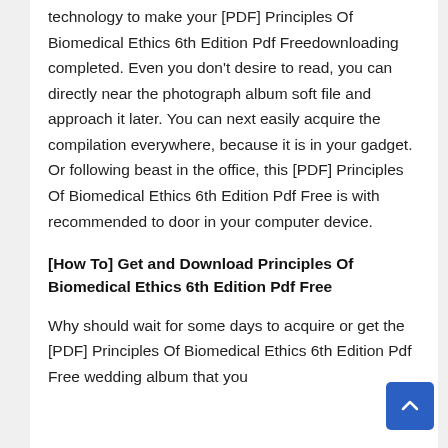technology to make your [PDF] Principles Of Biomedical Ethics 6th Edition Pdf Freedownloading completed. Even you don't desire to read, you can directly near the photograph album soft file and approach it later. You can next easily acquire the compilation everywhere, because it is in your gadget. Or following beast in the office, this [PDF] Principles Of Biomedical Ethics 6th Edition Pdf Free is with recommended to door in your computer device.
[How To] Get and Download Principles Of Biomedical Ethics 6th Edition Pdf Free
Why should wait for some days to acquire or get the [PDF] Principles Of Biomedical Ethics 6th Edition Pdf Free wedding album that you